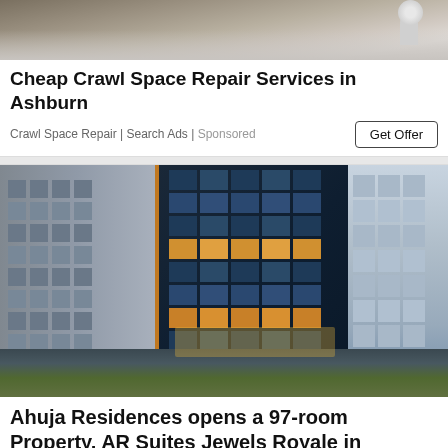[Figure (photo): Top portion of crawl space repair advertisement image showing sandy/gravelly ground surface]
Cheap Crawl Space Repair Services in Ashburn
Crawl Space Repair | Search Ads | Sponsored
Get Offer
[Figure (photo): Aerial/elevated view of Ahuja Residences modern high-rise building complex at night/dusk, showing tall glass and concrete towers with illuminated lobbies and surrounding area]
Ahuja Residences opens a 97-room Property, AR Suites Jewels Royale in Koregaon Park Annexe...